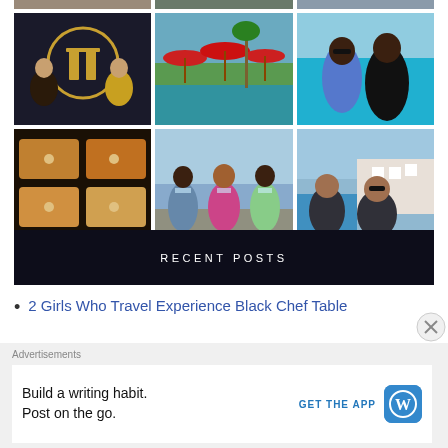[Figure (photo): Partial top row of three photos cropped at top edge]
[Figure (photo): 3x2 grid of travel/food photos: top-left shows two people in front of a gold circular sign with Japanese characters, top-center shows a resort pool with red umbrellas and palm trees, top-right shows two women at a beach with turquoise water, bottom-left shows a spread of food dishes on a dark table, bottom-center shows three women posing outdoors with masks, bottom-right shows two women smiling near a Mediterranean coastal town]
RECENT POSTS
2 Girls Who Travel Experience Black Chef Table
Advertisements
Build a writing habit. Post on the go. GET THE APP